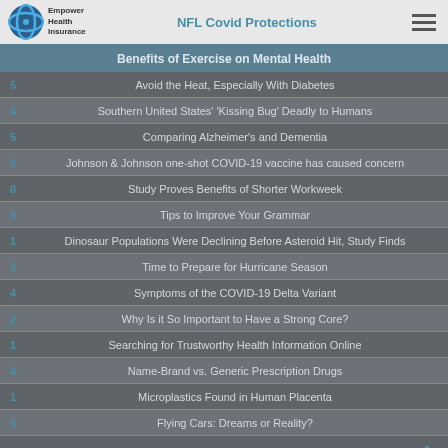NFL Covid Protections | Benefits of Exercise on Mental Health
Avoid the Heat, Especially With Diabetes
Southern United States' 'Kissing Bug' Deadly to Humans
Comparing Alzheimer's and Dementia
Johnson & Johnson one-shot COVID-19 vaccine has caused concern
Study Proves Benefits of Shorter Workweek
Tips to Improve Your Grammar
Dinosaur Populations Were Declining Before Asteroid Hit, Study Finds
Time to Prepare for Hurricane Season
Symptoms of the COVID-19 Delta Variant
Why Is it So Important to Have a Strong Core?
Searching for Trustworthy Health Information Online
Name-Brand vs. Generic Prescription Drugs
Microplastics Found in Human Placenta
Flying Cars: Dreams or Reality?
There's WHAT Living On My Skin?
Your Parents May Require Assisted Living If They Display These Signs